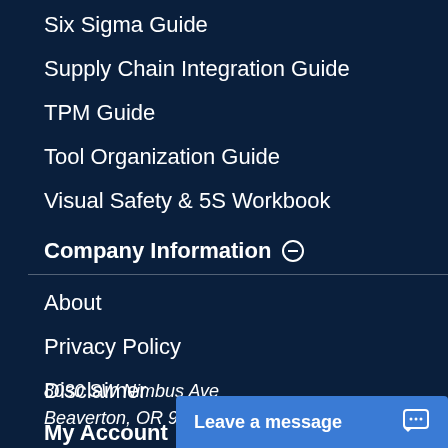Six Sigma Guide
Supply Chain Integration Guide
TPM Guide
Tool Organization Guide
Visual Safety & 5S Workbook
Company Information ⊖
About
Privacy Policy
Disclaimer
8030 SW Nimbus Ave
Beaverton, OR 97008
My Account ⊖
Leave a message